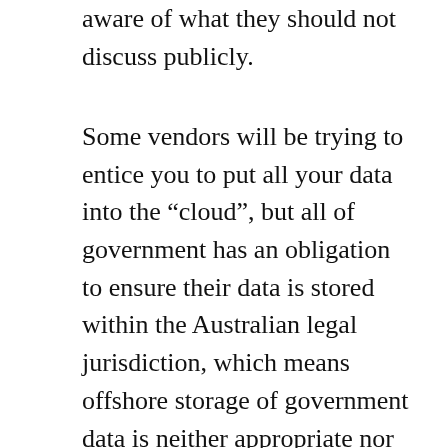aware of what they should not discuss publicly.
Some vendors will be trying to entice you to put all your data into the “cloud”, but all of government has an obligation to ensure their data is stored within the Australian legal jurisdiction, which means offshore storage of government data is neither appropriate nor responsible. All of government is supposed to adhere to open standards for their data, and this is extremely important to ensure you can access your own data down the track, and to share data between different systems. Consider when evaluating your normal ICT systems how easy it would be to open up various processes or information which will hopefully help you avoid